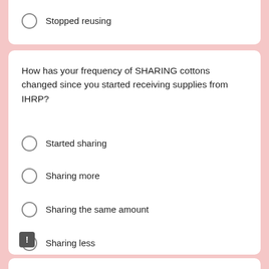Stopped reusing
How has your frequency of SHARING cottons changed since you started receiving supplies from IHRP?
Started sharing
Sharing more
Sharing the same amount
Sharing less
Stopped sharing